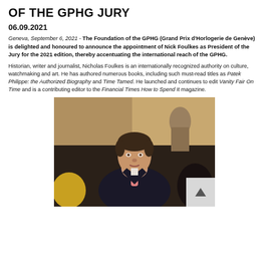OF THE GPHG JURY
06.09.2021
Geneva, September 6, 2021 - The Foundation of the GPHG (Grand Prix d'Horlogerie de Genève) is delighted and honoured to announce the appointment of Nick Foulkes as President of the Jury for the 2021 edition, thereby accentuating the international reach of the GPHG.
Historian, writer and journalist, Nicholas Foulkes is an internationally recognized authority on culture, watchmaking and art. He has authored numerous books, including such must-read titles as Patek Philippe: the Authorized Biography and Time Tamed. He launched and continues to edit Vanity Fair On Time and is a contributing editor to the Financial Times How to Spend It magazine.
[Figure (photo): Portrait photo of Nick Foulkes seated in front of a colorful painting, wearing a navy suit and pink tie, in an interior setting with a lamp.]